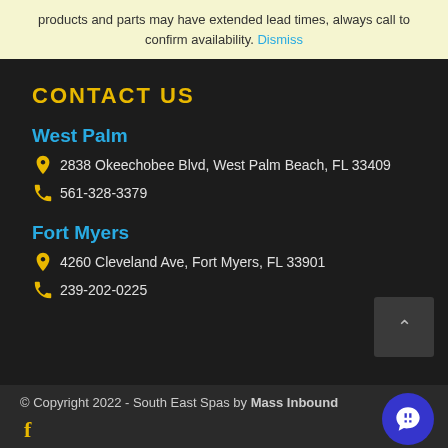products and parts may have extended lead times, always call to confirm availability. Dismiss
CONTACT US
West Palm
2838 Okeechobee Blvd, West Palm Beach, FL 33409
561-328-3379
Fort Myers
4260 Cleveland Ave, Fort Myers, FL 33901
239-202-0225
© Copyright 2022 - South East Spas by Mass Inbound